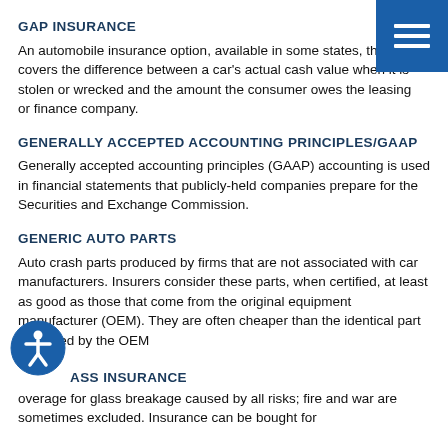GAP INSURANCE
An automobile insurance option, available in some states, that covers the difference between a car's actual cash value when it is stolen or wrecked and the amount the consumer owes the leasing or finance company.
GENERALLY ACCEPTED ACCOUNTING PRINCIPLES/GAAP
Generally accepted accounting principles (GAAP) accounting is used in financial statements that publicly-held companies prepare for the Securities and Exchange Commission.
GENERIC AUTO PARTS
Auto crash parts produced by firms that are not associated with car manufacturers. Insurers consider these parts, when certified, at least as good as those that come from the original equipment manufacturer (OEM). They are often cheaper than the identical part produced by the OEM
GLASS INSURANCE
Coverage for glass breakage caused by all risks; fire and war are sometimes excluded. Insurance can be bought for